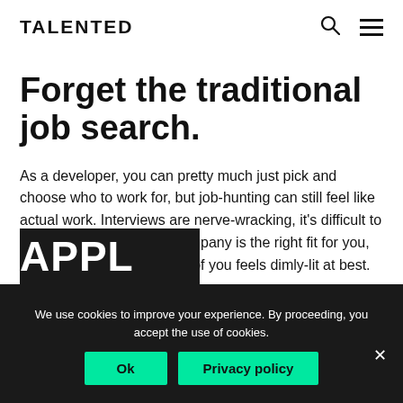TALENTED
Forget the traditional job search.
As a developer, you can pretty much just pick and choose who to work for, but job-hunting can still feel like actual work. Interviews are nerve-wracking, it's difficult to figure out exactly which company is the right fit for you, and the career path ahead of you feels dimly-lit at best. May we help?
We use cookies to improve your experience. By proceeding, you accept the use of cookies.